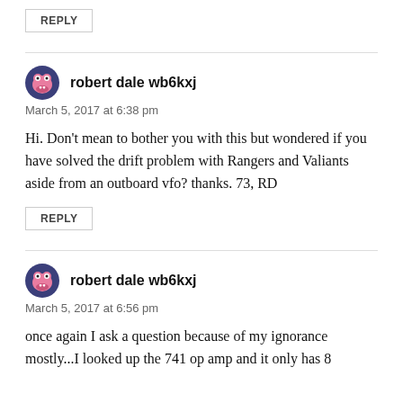REPLY
robert dale wb6kxj
March 5, 2017 at 6:38 pm
Hi. Don’t mean to bother you with this but wondered if you have solved the drift problem with Rangers and Valiants aside from an outboard vfo? thanks. 73, RD
REPLY
robert dale wb6kxj
March 5, 2017 at 6:56 pm
once again I ask a question because of my ignorance mostly...I looked up the 741 op amp and it only has 8